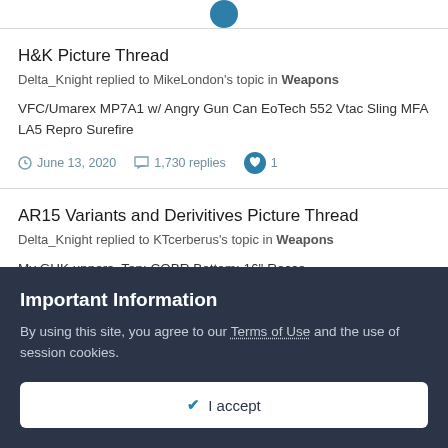[Figure (other): Partial blue circle icon at top center, cropped]
H&K Picture Thread
Delta_Knight replied to MikeLondon's topic in Weapons
VFC/Umarex MP7A1 w/ Angry Gun Can EoTech 552 Vtac Sling MFA LA5 Repro Surefire
June 13, 2020   1,730 replies   1
AR15 Variants and Derivitives Picture Thread
Delta_Knight replied to KTcerberus's topic in Weapons
My GHK uppers. Top: CQBR Bottom: 16" Recce
Important Information
By using this site, you agree to our Terms of Use and the use of session cookies.
✔ I accept